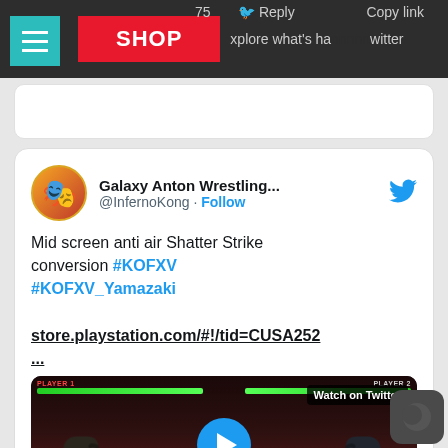75   Reply   Copy link
Galaxy Anton Wrestling... @InfernoKong · Follow
Mid screen anti air Shatter Strike conversion #KOFXV #KOFXV_Yamazaki

store.playstation.com/#!/tid=CUSA252
...
[Figure (screenshot): Video thumbnail of King of Fighters XV gameplay showing two characters fighting. Play button overlay and 'Watch on Twitter' label. Score shows 2 vs 5.]
1:43 PM · May 17, 2022